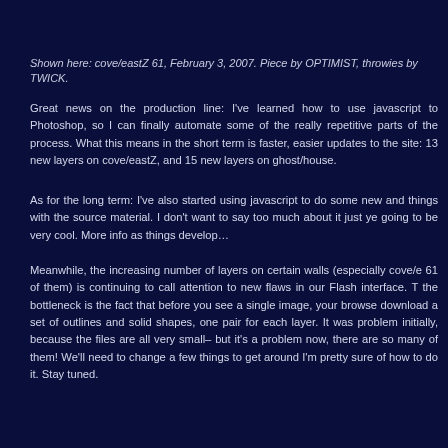Shown here: cove/eastZ 61, February 3, 2007. Piece by OPTIMIST, throwies by TWICK.
Great news on the production line: I've learned how to use javascript to Photoshop, so I can finally automate some of the really repetitive parts of the process. What this means in the short term is faster, easier updates to the site: 13 new layers on cove/eastZ, and 15 new layers on ghost/house.
As for the long term: I've also started using javascript to do some new and things with the source material. I don't want to say too much about it just ye going to be very cool. More info as things develop…
Meanwhile, the increasing number of layers on certain walls (especially cove/e 61 of them) is continuing to call attention to new flaws in our Flash interface. T the bottleneck is the fact that before you see a single image, your browse download a set of outlines and solid shapes, one pair for each layer. It was problem initially, because the files are all very small– but it's a problem now, there are so many of them! We'll need to change a few things to get around I'm pretty sure of how to do it. Stay tuned.